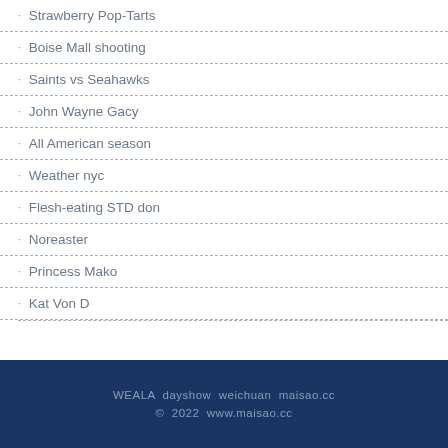Strawberry Pop-Tarts
Boise Mall shooting
Saints vs Seahawks
John Wayne Gacy
All American season
Weather nyc
Flesh-eating STD don
Noreaster
Princess Mako
Kat Von D
WEALA  dayshow  weichuan  maisao.cc
© 2022  www.maisao.cc